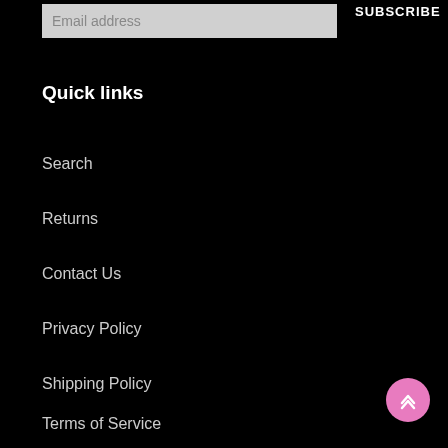Email address
SUBSCRIBE
Quick links
Search
Returns
Contact Us
Privacy Policy
Shipping Policy
Terms of Service